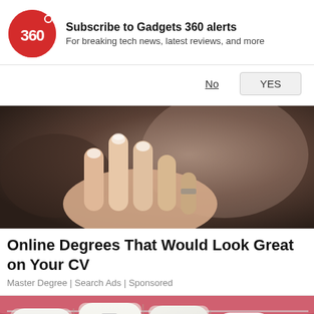[Figure (screenshot): Gadgets 360 notification subscription prompt with red circular logo showing '360']
Subscribe to Gadgets 360 alerts
For breaking tech news, latest reviews, and more
No  YES
[Figure (photo): Close-up photo of a hand pointing with one finger toward the camera against a dark blurred background]
Online Degrees That Would Look Great on Your CV
Master Degree | Search Ads | Sponsored
[Figure (photo): Close-up macro photo of white human teeth with braces visible, pink gum tissue surrounding them]